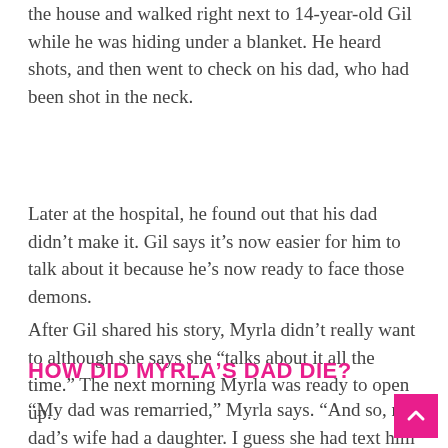the house and walked right next to 14-year-old Gil while he was hiding under a blanket. He heard shots, and then went to check on his dad, who had been shot in the neck.
Later at the hospital, he found out that his dad didn’t make it. Gil says it’s now easier for him to talk about it because he’s now ready to face those demons.
After Gil shared his story, Myrla didn’t really want to although she says she “talks about it all the time.” The next morning Myrla was ready to open up.
HOW DID MYRLA’S DAD DIE?
“My dad was remarried,” Myrla says. “And so, my dad’s wife had a daughter. I guess she had text him or something. [he] must have gone when to her house…